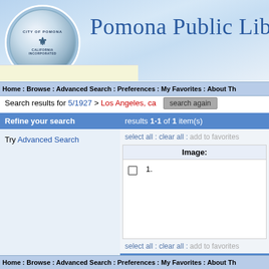Pomona Public Library
Home : Browse : Advanced Search : Preferences : My Favorites : About Th
Search results for 5/1927 > Los Angeles, ca  search again
Refine your search
Try Advanced Search
results 1-1 of 1 item(s)
select all : clear all : add to favorites
Image:
1.
select all : clear all : add to favorites
results 1-1 of 1 item(s)
Home : Browse : Advanced Search : Preferences : My Favorites : About Th